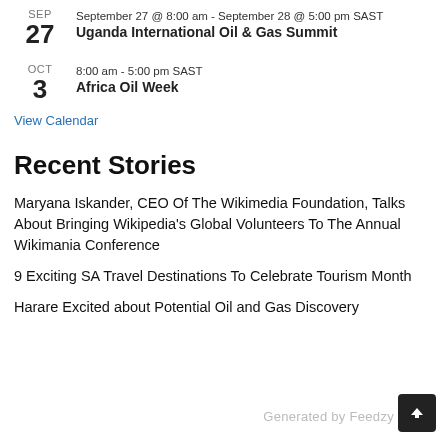SEP 27 — September 27 @ 8:00 am - September 28 @ 5:00 pm SAST — Uganda International Oil & Gas Summit
OCT 3 — 8:00 am - 5:00 pm SAST — Africa Oil Week
View Calendar
Recent Stories
Maryana Iskander, CEO Of The Wikimedia Foundation, Talks About Bringing Wikipedia's Global Volunteers To The Annual Wikimania Conference
9 Exciting SA Travel Destinations To Celebrate Tourism Month
Harare Excited about Potential Oil and Gas Discovery